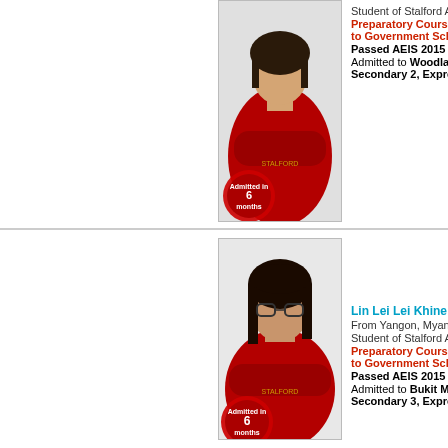[Figure (photo): Student in red hoodie with arms crossed, with red wax seal badge saying Admitted in 6 months, top-left cropped card]
Student of Stalford Academy
Preparatory Course for Admission to Government School (Sec 2)
Passed AEIS 2015
Admitted to Woodlands Sec School, Secondary 2, Express Stream
Student of Stalford Academy
Preparatory Course for Admission to Government School (Sec 2) [partially visible]
Passed AEIS 2015
Admitted to Beatty Sec... Secondary 2, Express [partially visible]
[Figure (photo): Young woman in red hoodie with glasses and arms crossed, with red wax seal badge saying Admitted in 6 months]
Lin Lei Lei Khine
From Yangon, Myanmar
Student of Stalford Academy
Preparatory Course for Admission to Government School (Sec 3)
Passed AEIS 2015
Admitted to Bukit Merah Sec School, Secondary 3, Express Stream